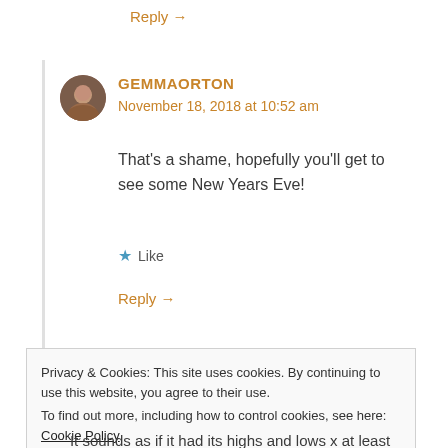Reply →
GEMMAORTON
November 18, 2018 at 10:52 am
That's a shame, hopefully you'll get to see some New Years Eve!
★ Like
Reply →
Privacy & Cookies: This site uses cookies. By continuing to use this website, you agree to their use.
To find out more, including how to control cookies, see here: Cookie Policy
Close and accept
It sounds as if it had its highs and lows x at least